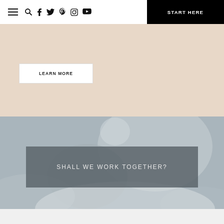Navigation bar with hamburger menu, search, social icons (Facebook, Twitter, Pinterest, Instagram, YouTube), and START HERE button
LEARN MORE
[Figure (illustration): Decorative abstract blob shapes in muted blue-grey tones forming a background for the 'Shall We Work Together?' section]
SHALL WE WORK TOGETHER?